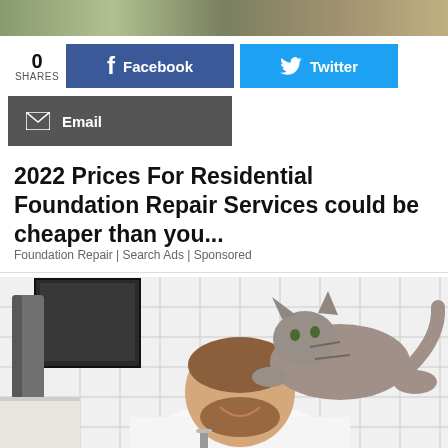[Figure (photo): Partial top photo showing outdoor scene with animals]
0 SHARES
f Facebook
Twitter
Email
2022 Prices For Residential Foundation Repair Services could be cheaper than you...
Foundation Repair | Search Ads | Sponsored
[Figure (photo): Man in white shirt leaning over bathroom sink smiling, with a tabby cat standing on his shoulders/back in a white tile bathroom. A mirror with reflection and gray towel visible in background.]